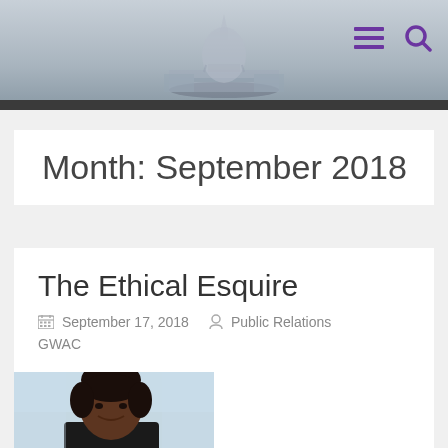[Figure (photo): Website header with Capitol building silhouette background and purple hamburger menu and search icons in top right]
Month: September 2018
The Ethical Esquire
September 17, 2018   Public Relations GWAC
[Figure (photo): Portrait photo of a young woman with dark hair, smiling, wearing dark clothing, light blue background]